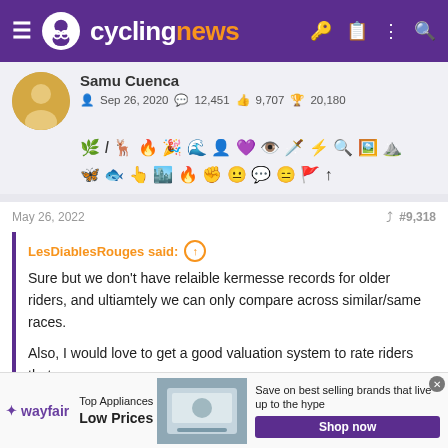cyclingnews
Samu Cuenca — Sep 26, 2020 — 12,451 — 9,707 — 20,180
[Figure (screenshot): User badges/achievement icons row]
May 26, 2022 · #9,318
LesDiablesRouges said: Sure but we don't have relaible kermesse records for older riders, and ultiamtely we can only compare across similar/same races.

Also, I would love to get a good valuation system to rate riders that
[Figure (screenshot): Wayfair advertisement banner: Top Appliances Low Prices, Save on best selling brands that live up to the hype, Shop now button]